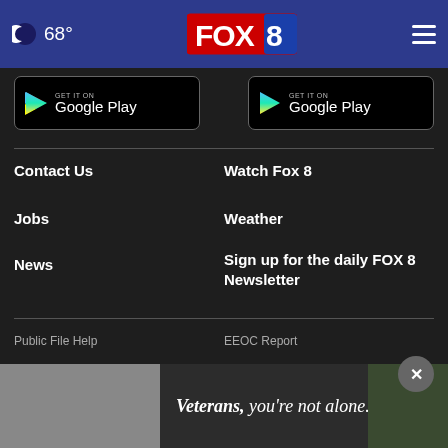68° FOX 8
[Figure (screenshot): Two Google Play store download buttons side by side]
Contact Us
Watch Fox 8
Jobs
Weather
News
Sign up for the daily FOX 8 Newsletter
Public File Help
EEOC Report
Public R...
[Figure (screenshot): Advertisement banner: Veterans, you're not alone.]